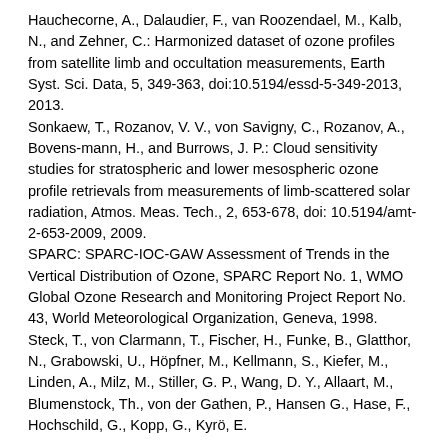Hauchecorne, A., Dalaudier, F., van Roozendael, M., Kalb, N., and Zehner, C.: Harmonized dataset of ozone profiles from satellite limb and occultation measurements, Earth Syst. Sci. Data, 5, 349-363, doi:10.5194/essd-5-349-2013, 2013.
Sonkaew, T., Rozanov, V. V., von Savigny, C., Rozanov, A., Bovens-mann, H., and Burrows, J. P.: Cloud sensitivity studies for stratospheric and lower mesospheric ozone profile retrievals from measurements of limb-scattered solar radiation, Atmos. Meas. Tech., 2, 653-678, doi: 10.5194/amt-2-653-2009, 2009.
SPARC: SPARC-IOC-GAW Assessment of Trends in the Vertical Distribution of Ozone, SPARC Report No. 1, WMO Global Ozone Research and Monitoring Project Report No. 43, World Meteorological Organization, Geneva, 1998.
Steck, T., von Clarmann, T., Fischer, H., Funke, B., Glatthor, N., Grabowski, U., Höpfner, M., Kellmann, S., Kiefer, M., Linden, A., Milz, M., Stiller, G. P., Wang, D. Y., Allaart, M., Blumenstock, Th., von der Gathen, P., Hansen G., Hase, F., Hochschild, G., Kopp, G., Kyrö, E.